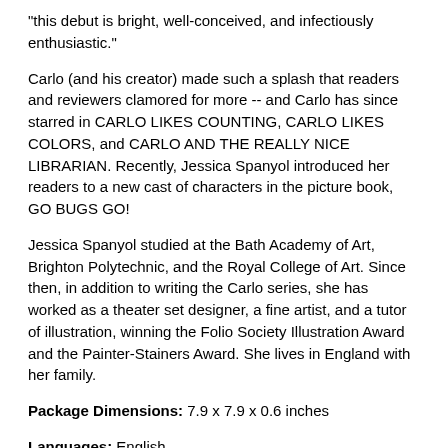"this debut is bright, well-conceived, and infectiously enthusiastic."
Carlo (and his creator) made such a splash that readers and reviewers clamored for more -- and Carlo has since starred in CARLO LIKES COUNTING, CARLO LIKES COLORS, and CARLO AND THE REALLY NICE LIBRARIAN. Recently, Jessica Spanyol introduced her readers to a new cast of characters in the picture book, GO BUGS GO!
Jessica Spanyol studied at the Bath Academy of Art, Brighton Polytechnic, and the Royal College of Art. Since then, in addition to writing the Carlo series, she has worked as a theater set designer, a fine artist, and a tutor of illustration, winning the Folio Society Illustration Award and the Painter-Stainers Award. She lives in England with her family.
Package Dimensions: 7.9 x 7.9 x 0.6 inches
Languages: English